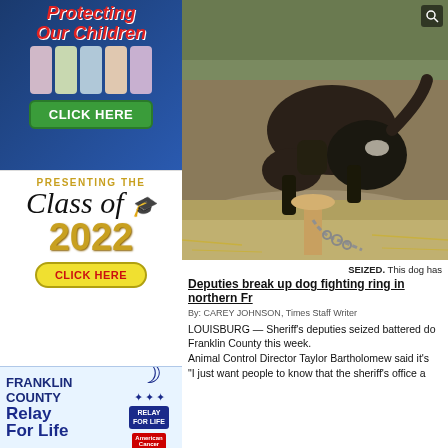[Figure (illustration): Advertisement: Protecting Our Children with children photo and green CLICK HERE button]
[Figure (illustration): Advertisement: Presenting the Class of 2022 with graduation cap and gold CLICK HERE button]
[Figure (illustration): Advertisement: Franklin County Relay For Life with moon/crescent logo]
[Figure (photo): Photo of a dark-colored dog chained to a post, apparently seized in a dog fighting ring bust in northern Franklin County]
SEIZED. This dog has
Deputies break up dog fighting ring in northern Fr
By: CAREY JOHNSON, Times Staff Writer
LOUISBURG — Sheriff's deputies seized battered do Franklin County this week.
Animal Control Director Taylor Bartholomew said it's
"I just want people to know that the sheriff's office a